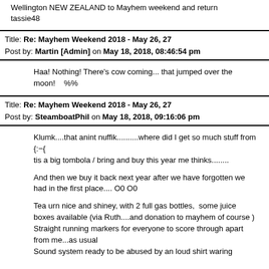Wellington NEW ZEALAND to Mayhem weekend and return
tassie48
Title: Re: Mayhem Weekend 2018 - May 26, 27
Post by: Martin [Admin] on May 18, 2018, 08:46:54 pm
Haa! Nothing! There's cow coming... that jumped over the moon!    %%
Title: Re: Mayhem Weekend 2018 - May 26, 27
Post by: SteamboatPhil on May 18, 2018, 09:16:06 pm
Klumk....that anint nuffik..........where did I get so much stuff from  {:-(
tis a big tombola / bring and buy this year me thinks........
And then we buy it back next year after we have forgotten we had in the first place.... O0 O0
Tea urn nice and shiney, with 2 full gas bottles,  some juice boxes available (via Ruth....and donation to mayhem of course )
Straight running markers for everyone to score through apart from me...as usual
Sound system ready to be abused by an loud shirt waring